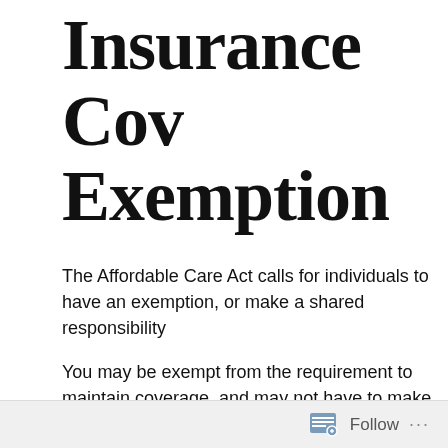Insurance Coverage Exemption
The Affordable Care Act calls for individuals to have an exemption, or make a shared responsibility...
You may be exempt from the requirement to maintain coverage, and may not have to make a shared responsibility payment on your return. .
You may be exempt if you:
Have no affordable coverage options because t...
Follow ···